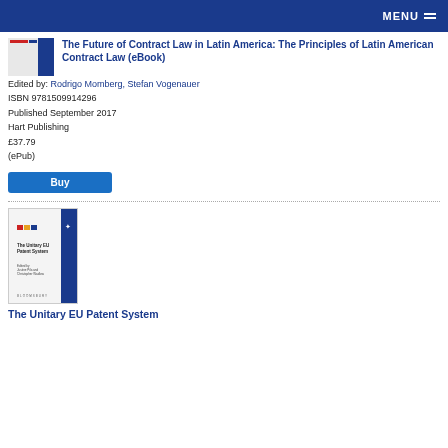MENU
The Future of Contract Law in Latin America: The Principles of Latin American Contract Law (eBook)
Edited by: Rodrigo Momberg, Stefan Vogenauer
ISBN 9781509914296
Published September 2017
Hart Publishing
£37.79
(ePub)
Buy
[Figure (photo): Book cover thumbnail for The Unitary EU Patent System]
The Unitary EU Patent System